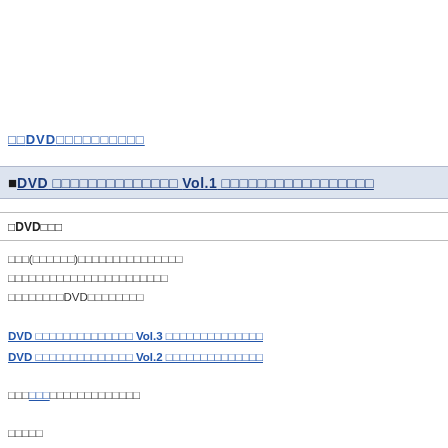□□DVD□□□□□□□□□□
■DVD □□□□□□□□□□□□□□ Vol.1 □□□□□□□□□□□□□□□□□
□DVD□□□
□□□(□□□□□□)□□□□□□□□□□□□□□□
□□□□□□□□□□□□□□□□□□□□□□□
□□□□□□□□DVD□□□□□□□□

DVD □□□□□□□□□□□□□□ Vol.3 □□□□□□□□□□□□□□
DVD □□□□□□□□□□□□□□ Vol.2 □□□□□□□□□□□□□□

□□□□□□□□□□□□□□□□□□□

□□□□□